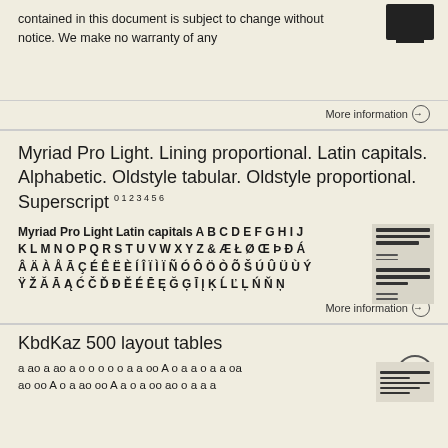contained in this document is subject to change without notice. We make no warranty of any
More information →
Myriad Pro Light. Lining proportional. Latin capitals. Alphabetic. Oldstyle tabular. Oldstyle proportional. Superscript 0 1 2 3 4 5 6
Myriad Pro Light Latin capitals A B C D E F G H I J K L M N O P Q R S T U V W X Y Z & Æ Ł Ø Œ Þ Ð Á Â Ä À Å Ā Ç É Ê Ë È Í Î Ï Ì Ï Ñ Ó Ô Ö Ò Õ Š Ú Û Ü Ù Ý Ÿ Ž Ă Ā Ą Ć Č Ď Đ Ě É Ē Ę Ğ Ģ Ī Į Ķ Ĺ Ľ Ļ Ń Ň Ņ
More information →
KbdKaz 500 layout tables
a ao a ao a o o o o o a a oo A o a a o a a oa ao oo A o a ao oo A a o a oo ao o a a a